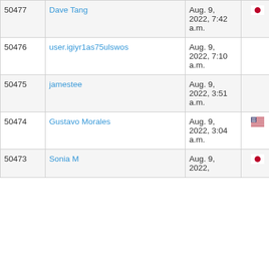| ID | Name | Date | Flag | Count |
| --- | --- | --- | --- | --- |
| 50477 | Dave Tang | Aug. 9, 2022, 7:42 a.m. | 🇯🇵 | 12 |
| 50476 | user.igiyr1as75ulswos | Aug. 9, 2022, 7:10 a.m. |  | 38 |
| 50475 | jamestee | Aug. 9, 2022, 3:51 a.m. |  | 9 |
| 50474 | Gustavo Morales | Aug. 9, 2022, 3:04 a.m. | 🇺🇸 | 10 |
| 50473 | Sonia M | Aug. 9, 2022, ... | 🇯🇵 | 21 |